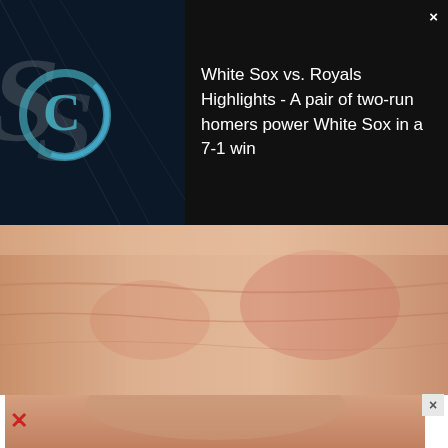[Figure (screenshot): Video thumbnail showing Chicago White Sox logo/branding on dark background with close button (×)]
White Sox vs. Royals Highlights - A pair of two-run homers power White Sox in a 7-1 win
[Figure (photo): Close-up photo of skin showing signs of plaque psoriasis - pink/tan colored skin close up]
Do You Know What Plaque Psoriasis Is? (Take a Look)
Plaque Psoriasis Treatment | S
[Figure (photo): Close-up photo of a face/skin, partially visible, with a close (×) button]
×